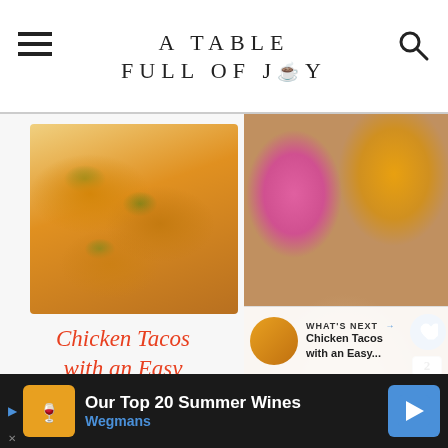A TABLE FULL OF JOY
[Figure (photo): Chicken tacos with green salsa on a white plate, topped with herbs and garnish]
Chicken Tacos with an Easy Green Salsa Recipe
[Figure (photo): A cupcake with white frosting and lemon slice, pink and yellow flowers in background]
WHAT'S NEXT → Chicken Tacos with an Easy...
Our Top 20 Summer Wines
Wegmans